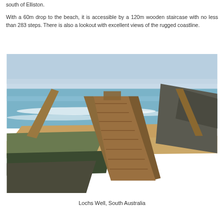south of Elliston.
With a 60m drop to the beach, it is accessible by a 120m wooden staircase with no less than 283 steps. There is also a lookout with excellent views of the rugged coastline.
[Figure (photo): Aerial view looking down a long wooden staircase with railings descending a rugged cliff toward a sandy beach with turquoise ocean waves. Rocky hillside vegetation visible on both sides. Watermark reads (c) www.letitbefood.com]
Lochs Well, South Australia